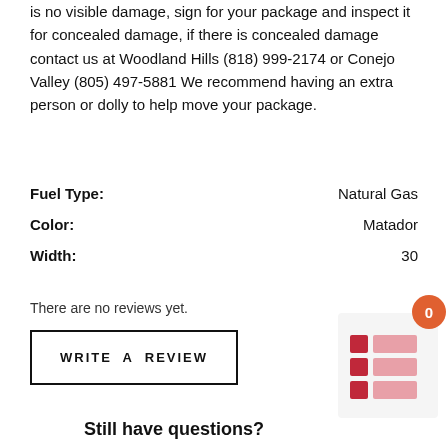is no visible damage, sign for your package and inspect it for concealed damage, if there is concealed damage contact us at Woodland Hills (818) 999-2174 or Conejo Valley (805) 497-5881 We recommend having an extra person or dolly to help move your package.
| Attribute | Value |
| --- | --- |
| Fuel Type: | Natural Gas |
| Color: | Matador |
| Width: | 30 |
There are no reviews yet.
WRITE A REVIEW
Still have questions?